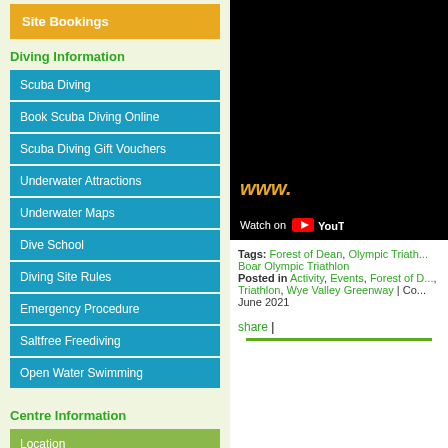Site Bookings
Diving Information
Scuba Diving
Book Scuba Diving Online
Scuba Diving Gift Vouchers
Underwater Attractions
Underwater Maps
Dive School
Diving Site Rules
Emergency Procedure
Saltfree Freediving
Open Water Swimming
Centre Information
Location
[Figure (screenshot): YouTube video player showing www. domain text in orange on black background with Watch on YouTube bar]
Tags: Forest of Dean, Olympic Triath..., Boar Olympic Triathlon
Posted in Activity, Events, Forest of D..., Triathlon, Wye Valley Greenway | Co... June 2021
share |